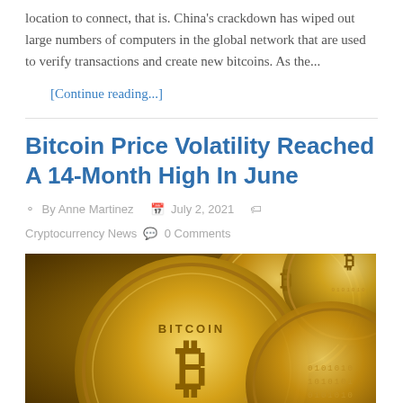location to connect, that is. China's crackdown has wiped out large numbers of computers in the global network that are used to verify transactions and create new bitcoins. As the...
[Continue reading...]
Bitcoin Price Volatility Reached A 14-Month High In June
By Anne Martinez  July 2, 2021  Cryptocurrency News  0 Comments
[Figure (photo): Close-up photograph of multiple gold Bitcoin coins stacked and overlapping, showing the Bitcoin symbol and 'BITCOIN' text engraved on the coins.]